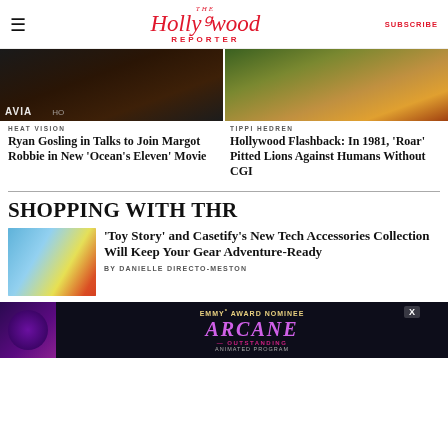The Hollywood Reporter | SUBSCRIBE
[Figure (photo): Ryan Gosling at an awards event, wearing a rust/brown outfit, standing in front of a backdrop with 'AVIAT' and 'HO' visible]
[Figure (photo): A lion interacting with a human outdoors, scene from 1981 film 'Roar']
HEAT VISION
Ryan Gosling in Talks to Join Margot Robbie in New 'Ocean's Eleven' Movie
TIPPI HEDREN
Hollywood Flashback: In 1981, 'Roar' Pitted Lions Against Humans Without CGI
SHOPPING WITH THR
[Figure (photo): Toy Story and Casetify tech accessories collection including phone cases and other products on a blue background]
'Toy Story' and Casetify's New Tech Accessories Collection Will Keep Your Gear Adventure-Ready
BY DANIELLE DIRECTO-MESTON
[Figure (infographic): Advertisement banner for Arcane: Emmy Award Nominee - Outstanding Animated Program, with animated character on dark background]